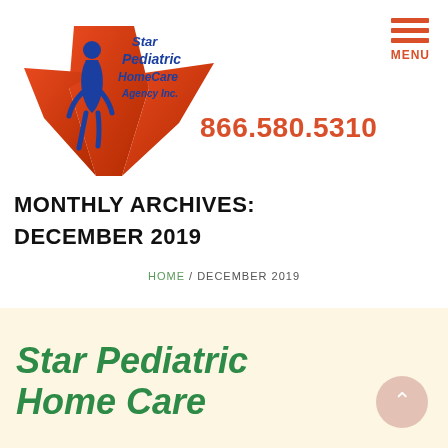[Figure (logo): Star Pediatric Home Care Agency Inc. logo with a blue child silhouette on an orange/red star shape with handwritten-style text]
MENU
866.580.5310
MONTHLY ARCHIVES: DECEMBER 2019
HOME / DECEMBER 2019
Star Pediatric Home Care